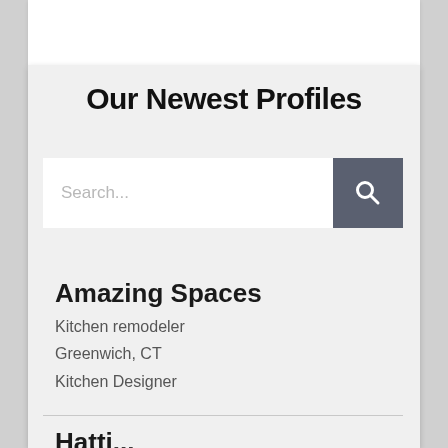Our Newest Profiles
[Figure (screenshot): Search bar with text input area and dark search button with magnifying glass icon]
Amazing Spaces
Kitchen remodeler
Greenwich, CT
Kitchen Designer
Hattie...